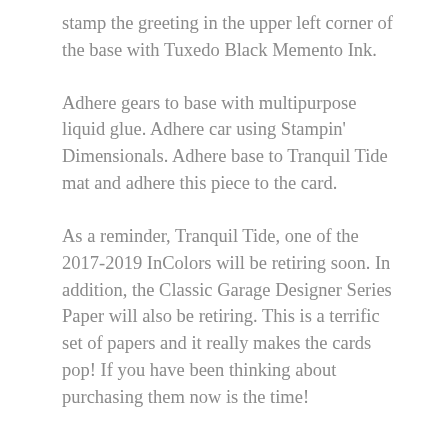stamp the greeting in the upper left corner of the base with Tuxedo Black Memento Ink.
Adhere gears to base with multipurpose liquid glue. Adhere car using Stampin' Dimensionals. Adhere base to Tranquil Tide mat and adhere this piece to the card.
As a reminder, Tranquil Tide, one of the 2017-2019 InColors will be retiring soon. In addition, the Classic Garage Designer Series Paper will also be retiring. This is a terrific set of papers and it really makes the cards pop! If you have been thinking about purchasing them now is the time!